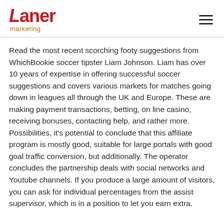Laner marketing
Read the most recent scorching footy suggestions from WhichBookie soccer tipster Liam Johnson. Liam has over 10 years of expertise in offering successful soccer suggestions and covers various markets for matches going down in leagues all through the UK and Europe. These are making payment transactions, betting, on line casino, receiving bonuses, contacting help, and rather more. Possibilities, it's potential to conclude that this affiliate program is mostly good, suitable for large portals with good goal traffic conversion, but additionally. The operator concludes the partnership deals with social networks and Youtube channels. If you produce a large amount of visitors, you can ask for individual percentages from the assist supervisor, which is in a position to let you earn extra.